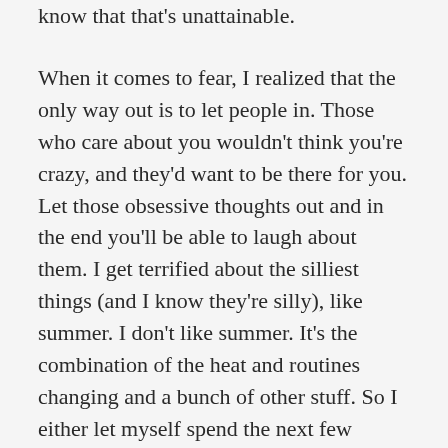know that that's unattainable.
When it comes to fear, I realized that the only way out is to let people in. Those who care about you wouldn't think you're crazy, and they'd want to be there for you. Let those obsessive thoughts out and in the end you'll be able to laugh about them. I get terrified about the silliest things (and I know they're silly), like summer. I don't like summer. It's the combination of the heat and routines changing and a bunch of other stuff. So I either let myself spend the next few months feeling awful, or just take one day at a time, talk to people, and not